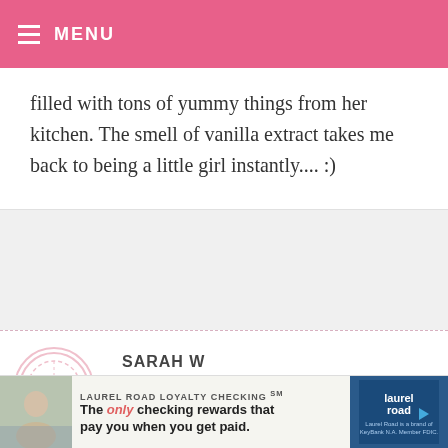MENU
filled with tons of yummy things from her kitchen. The smell of vanilla extract takes me back to being a little girl instantly.... :)
SARAH W
REPLY
My favor turned in my niece over the weekend before Christmas and we do a marathon
LAUREL ROAD LOYALTY CHECKING ™ The only checking rewards that pay you when you get paid. Laurel Road is a brand of KeyBank N.A. All products offered by KeyBank N.A. Member FDIC.